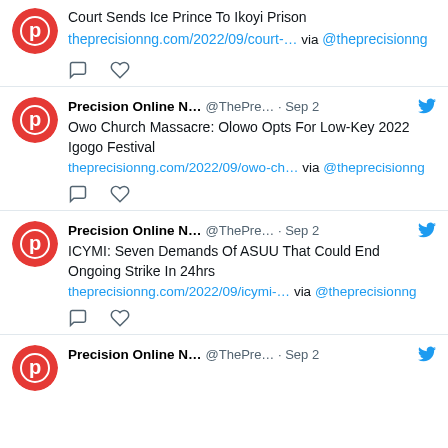[Figure (screenshot): Partial tweet card at top - Court Sends Ice Prince To Ikoyi Prison]
Court Sends Ice Prince To Ikoyi Prison
theprecisionng.com/2022/09/court-… via @theprecisionng
[Figure (screenshot): Tweet card - Precision Online N... @ThePre... Sep 2 - Owo Church Massacre: Olowo Opts For Low-Key 2022 Igogo Festival]
Owo Church Massacre: Olowo Opts For Low-Key 2022 Igogo Festival
theprecisionng.com/2022/09/owo-ch… via @theprecisionng
[Figure (screenshot): Tweet card - Precision Online N... @ThePre... Sep 2 - ICYMI: Seven Demands Of ASUU That Could End Ongoing Strike In 24hrs]
ICYMI: Seven Demands Of ASUU That Could End Ongoing Strike In 24hrs
theprecisionng.com/2022/09/icymi-… via @theprecisionng
[Figure (screenshot): Partial tweet card at bottom - Precision Online N... @ThePre... Sep 2]